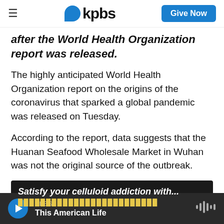kpbs | Give Now
after the World Health Organization report was released.
The highly anticipated World Health Organization report on the origins of the coronavirus that sparked a global pandemic was released on Tuesday.
According to the report, data suggests that the Huanan Seafood Wholesale Market in Wuhan was not the original source of the outbreak.
[Figure (screenshot): Advertisement banner: 'Satisfy your celluloid addiction with...' on dark background]
KPBS | This American Life